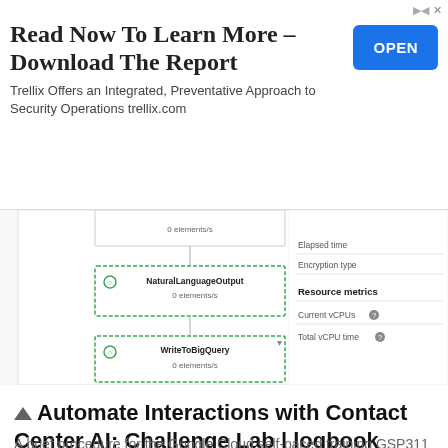[Figure (screenshot): Advertisement banner: 'Read Now To Learn More - Download The Report' with OPEN button. Trellix Offers an Integrated, Preventative Approach to Security Operations trellix.com]
[Figure (screenshot): Google Cloud Dataflow pipeline diagram showing NaturalLanguageOutput node (0 elements/s) connected to WriteToBigQuery node (0 elements/s), with a right panel showing Elapsed time, Encryption type, Resource metrics, Current vCPUs, Total vCPU time]
Automate Interactions with Contact Center AI: Challenge Lab | logbook
A brief procedure for the Google Cloud self-paced training GSP311 on Qwiklabs.
Cloud AI
Google Cloud
Logbook
Qwiklabs